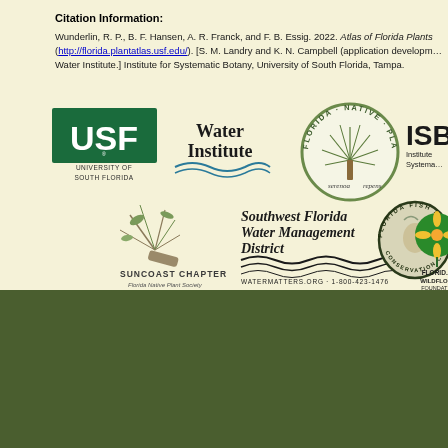Citation Information:
Wunderlin, R. P., B. F. Hansen, A. R. Franck, and F. B. Essig. 2022. Atlas of Florida Plants (http://florida.plantatlas.usf.edu/). [S. M. Landry and K. N. Campbell (application development), USF Water Institute.] Institute for Systematic Botany, University of South Florida, Tampa.
[Figure (logo): University of South Florida (USF) logo with green background]
[Figure (logo): Water Institute logo with wave graphic]
[Figure (logo): Florida Native Plant Society circular badge with sabal palm]
[Figure (logo): ISB Institute for Systematic Botany logo]
[Figure (logo): Suncoast Chapter Florida Native Plant Society logo with plant illustration]
[Figure (logo): Southwest Florida Water Management District logo]
[Figure (logo): Florida Fish and Wildlife Conservation Commission circular badge]
[Figure (logo): Florida Wildflower Foundation logo]